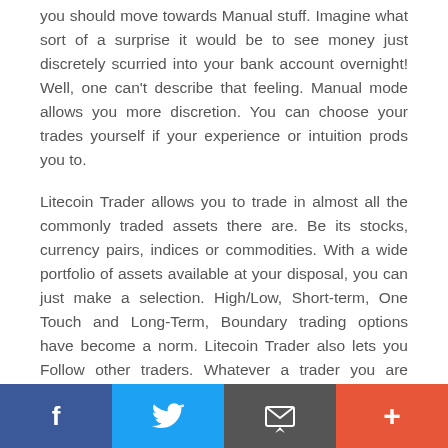you should move towards Manual stuff. Imagine what sort of a surprise it would be to see money just discretely scurried into your bank account overnight! Well, one can't describe that feeling. Manual mode allows you more discretion. You can choose your trades yourself if your experience or intuition prods you to.
Litecoin Trader allows you to trade in almost all the commonly traded assets there are. Be its stocks, currency pairs, indices or commodities. With a wide portfolio of assets available at your disposal, you can just make a selection. High/Low, Short-term, One Touch and Long-Term, Boundary trading options have become a norm. Litecoin Trader also lets you Follow other traders. Whatever a trader you are following is trading with, whatever he is gaining or losing, you get to see it all. You can also Copy your own trades on the lines of other successful traders you deem impressive. Whats
Facebook | Twitter | Email | +